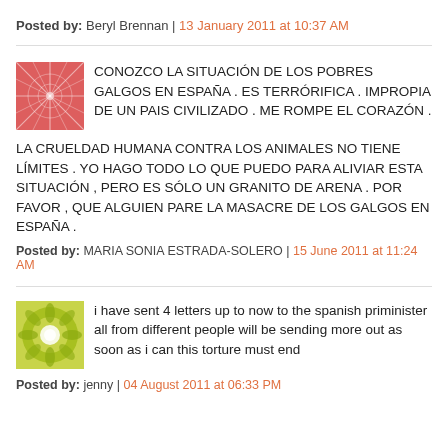Posted by: Beryl Brennan | 13 January 2011 at 10:37 AM
CONOZCO LA SITUACIÓN DE LOS POBRES GALGOS EN ESPAÑA . ES TERRÓRIFICA . IMPROPIA DE UN PAIS CIVILIZADO . ME ROMPE EL CORAZÓN . LA CRUELDAD HUMANA CONTRA LOS ANIMALES NO TIENE LÍMITES . YO HAGO TODO LO QUE PUEDO PARA ALIVIAR ESTA SITUACIÓN , PERO ES SÓLO UN GRANITO DE ARENA . POR FAVOR , QUE ALGUIEN PARE LA MASACRE DE LOS GALGOS EN ESPAÑA .
Posted by: MARIA SONIA ESTRADA-SOLERO | 15 June 2011 at 11:24 AM
i have sent 4 letters up to now to the spanish priminister all from different people will be sending more out as soon as i can this torture must end
Posted by: jenny | 04 August 2011 at 06:33 PM